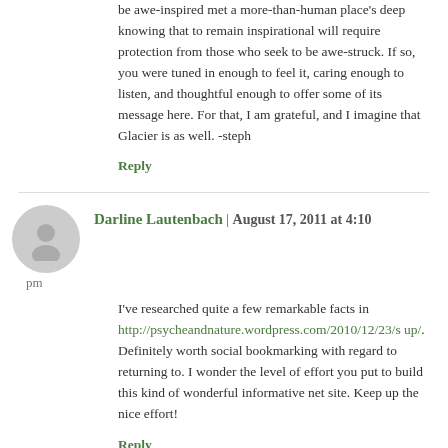be awe-inspired met a more-than-human place's deep knowing that to remain inspirational will require protection from those who seek to be awe-struck. If so, you were tuned in enough to feel it, caring enough to listen, and thoughtful enough to offer some of its message here. For that, I am grateful, and I imagine that Glacier is as well. -steph
Reply
Darline Lautenbach | August 17, 2011 at 4:10 pm
I've researched quite a few remarkable facts in http://psycheandnature.wordpress.com/2010/12/23/s up/. Definitely worth social bookmarking with regard to returning to. I wonder the level of effort you put to build this kind of wonderful informative net site. Keep up the nice effort!
Reply